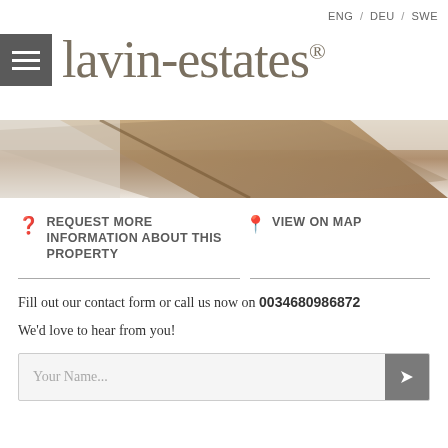lavin-estates® — ENG / DEU / SWE
[Figure (photo): Close-up photo of wooden architectural detail, ceiling or frame, with white and warm brown tones]
REQUEST MORE INFORMATION ABOUT THIS PROPERTY
VIEW ON MAP
Fill out our contact form or call us now on 0034680986872
We'd love to hear from you!
Your Name...